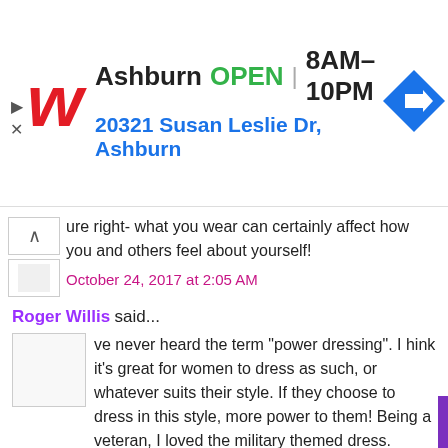[Figure (infographic): Walgreens advertisement banner showing logo, Ashburn location, OPEN status, hours 8AM-10PM, address 20321 Susan Leslie Dr Ashburn, and navigation icon]
ure right- what you wear can certainly affect how you and others feel about yourself!
October 24, 2017 at 2:05 AM
Roger Willis said...
ve never heard the term "power dressing". I hink it's great for women to dress as such, or whatever suits their style. If they choose to dress in this style, more power to them! Being a veteran, I loved the military themed dress.
October 24, 2017 at 2:51 AM
Azlin Bloor said...
love all the outfits you have on here, that military style skirt is just gorgeous. More power to you, whatever you wear!